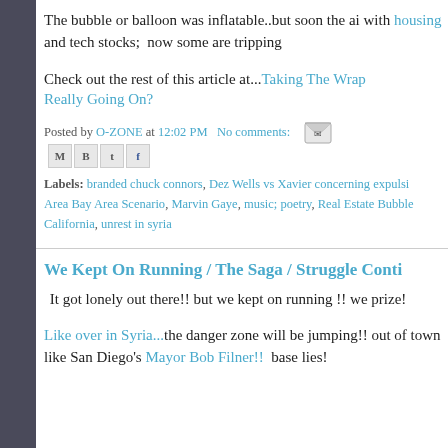The bubble or balloon was inflatable..but soon the ai with housing and tech stocks;  now some are tripping
Check out the rest of this article at...Taking The Wrap Really Going On?
Posted by O-ZONE at 12:02 PM   No comments:
Labels: branded chuck connors, Dez Wells vs Xavier concerning expulsi Area Bay Area Scenario, Marvin Gaye, music; poetry, Real Estate Bubble California, unrest in syria
We Kept On Running / The Saga / Struggle Conti
It got lonely out there!! but we kept on running !! we prize!
Like over in Syria...the danger zone will be jumping!! out of town like San Diego's Mayor Bob Filner!!  base lies!